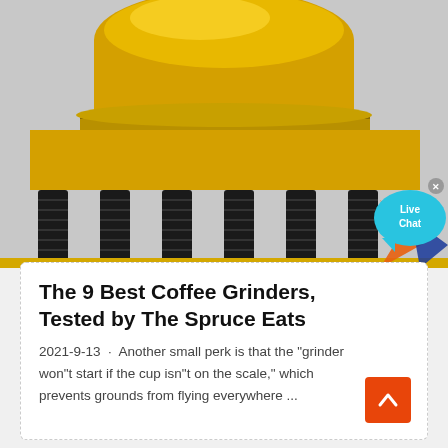[Figure (photo): Large yellow industrial cone crusher machine with heavy black coil springs, photographed close up. An overlay shows a cyan 'Live Chat' speech bubble in the upper right area of the image.]
The 9 Best Coffee Grinders, Tested by The Spruce Eats
2021-9-13 · Another small perk is that the "grinder won"t start if the cup isn"t on the scale," which prevents grounds from flying everywhere ...